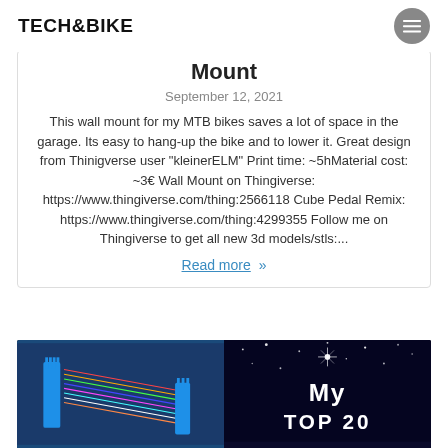TECH&BIKE
Mount
September 12, 2021
This wall mount for my MTB bikes saves a lot of space in the garage. Its easy to hang-up the bike and to lower it. Great design from Thinigverse user “kleinserELM” Print time: ~5hMaterial cost: ~3€ Wall Mount on Thingiverse: https://www.thingiverse.com/thing:2566118 Cube Pedal Remix: https://www.thingiverse.com/thing:4299355 Follow me on Thingiverse to get all new 3d models/stls:...
Read more »
[Figure (photo): Two-panel image strip: left side shows blue 3D-printed comb/bracket with colorful filaments; right side shows dark starry background with white text reading 'My TOP 20']